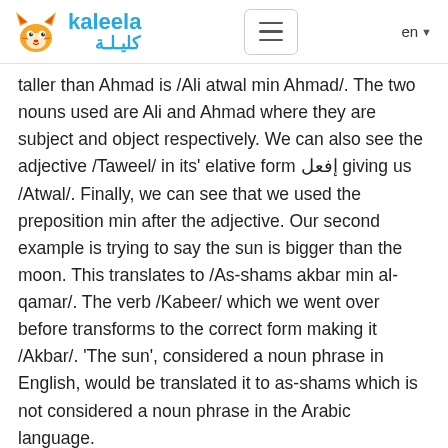kaleela / كليلة
taller than Ahmad is /Ali atwal min Ahmad/. The two nouns used are Ali and Ahmad where they are subject and object respectively. We can also see the adjective /Taweel/ in its' elative form إفعل giving us /Atwal/. Finally, we can see that we used the preposition min after the adjective. Our second example is trying to say the sun is bigger than the moon. This translates to /As-shams akbar min al-qamar/. The verb /Kabeer/ which we went over before transforms to the correct form making it /Akbar/. 'The sun', considered a noun phrase in English, would be translated it to as-shams which is not considered a noun phrase in the Arabic language.